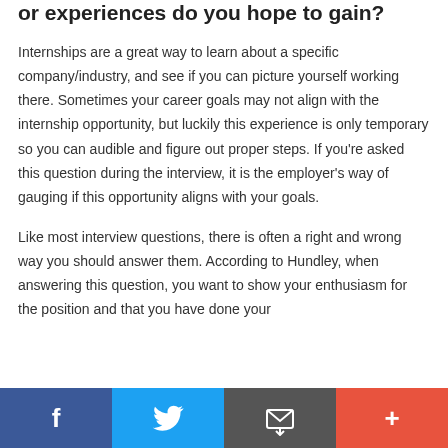or experiences do you hope to gain?
Internships are a great way to learn about a specific company/industry, and see if you can picture yourself working there. Sometimes your career goals may not align with the internship opportunity, but luckily this experience is only temporary so you can audible and figure out proper steps. If you're asked this question during the interview, it is the employer's way of gauging if this opportunity aligns with your goals.
Like most interview questions, there is often a right and wrong way you should answer them. According to Hundley, when answering this question, you want to show your enthusiasm for the position and that you have done your
[Figure (other): Social sharing bar with Facebook, Twitter, Email, and Plus buttons]